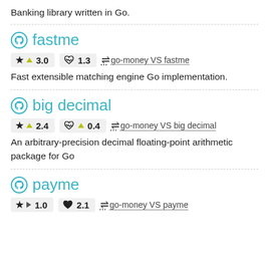Banking library written in Go.
fastme
★ ▲3.0   ❤ 1.3   ⇌ go-money VS fastme
Fast extensible matching engine Go implementation.
big decimal
★ ▲2.4   ❤ ▲0.4   ⇌ go-money VS big decimal
An arbitrary-precision decimal floating-point arithmetic package for Go
payme
★ ▶1.0   ❤ 2.1   ⇌ go-money VS payme